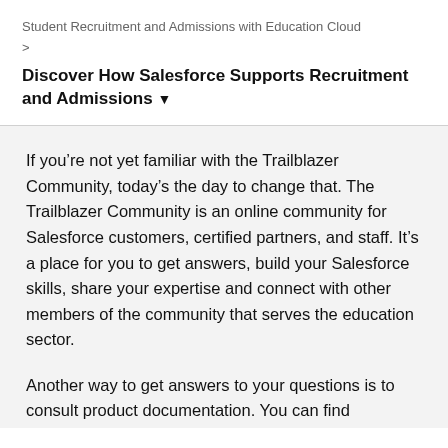Student Recruitment and Admissions with Education Cloud
Discover How Salesforce Supports Recruitment and Admissions ▾
If you're not yet familiar with the Trailblazer Community, today's the day to change that. The Trailblazer Community is an online community for Salesforce customers, certified partners, and staff. It's a place for you to get answers, build your Salesforce skills, share your expertise and connect with other members of the community that serves the education sector.
Another way to get answers to your questions is to consult product documentation. You can find documentation for EDA and Admissions Connect by searching the Knowledge base. Documentation